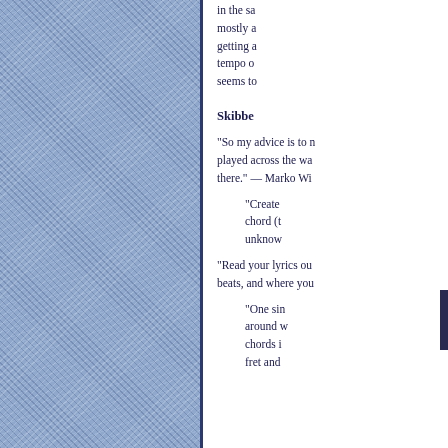[Figure (photo): Denim fabric texture filling the left panel of the page]
in the sa mostly a getting a tempo o seems to
Skibbe
"So my advice is to n played across the wa there." — Marko Wi
"Create chord (t unknow
"Read your lyrics ou beats, and where you
"One sin around w chords i fret and